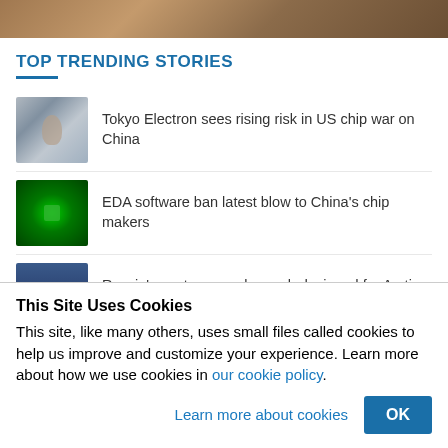[Figure (photo): Partial photo of an animal or person in earthy/brown tones, cropped to a strip at the top]
TOP TRENDING STORIES
Tokyo Electron sees rising risk in US chip war on China
EDA software ban latest blow to China's chip makers
Russia's next-gen nuclear sub designed for Arctic war
China's liquidity trap growing deep and wide
This Site Uses Cookies
This site, like many others, uses small files called cookies to help us improve and customize your experience. Learn more about how we use cookies in our cookie policy.
Learn more about cookies
OK